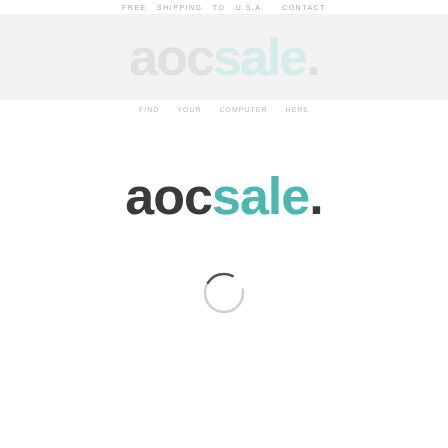FREE SHIPPING TO U.S.A. CONTACT
[Figure (logo): Large watermark/background logo showing 'aocsale.' in light grey, used as banner background]
FIND YOUR COMPUTER HERE
[Figure (logo): aocsale. logo with 'aoc' in dark charcoal and 'sale.' in teal]
[Figure (other): Circular loading spinner, partially transparent ring]